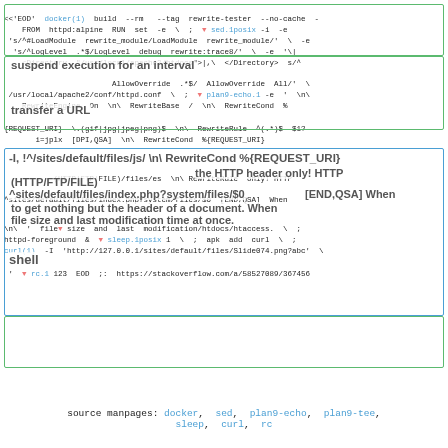[Figure (screenshot): Code block showing a shell script using docker build, sed, plan9-echo, sleep, curl, and rc commands. The code includes rewrite rules for Apache httpd. Green and blue annotation boxes highlight different sections of the code. Annotations include 'suspend execution for an interval', 'transfer a URL', '-I, !^/sites/default/files/js/', '(HTTP/FTP/FILE)', '^sites/default/files/index.php?system/files/', 'to get nothing but the header of a document. When used alone, curl outputs the HTTP header only! HTTP file size and last modification time at once.', 'shell']
source manpages: docker, sed, plan9-echo, plan9-tee, sleep, curl, rc